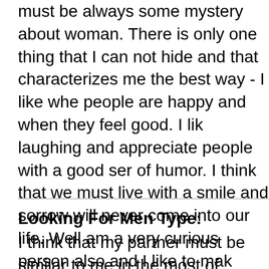right now. Of course, I would not, because there must be always some mystery about woman. There is only one thing that I can not hide and that characterizes me the best way - I like when people are happy and when they feel good. I like laughing and appreciate people with a good sense of humor. I think that we must live with a smile and sorrow will never come into our life. Well I am a very curious person also and I like to make experiments. I think I would not flatter myself said that I am a creative person also. I am always looking for fresh feelings, I try to watch and sometimes follow modern tendencies, if I find them good and useful. I think that life has much to offer that is why I try to get all its pleasures
Looking For Men Type:
I think that my partner must be similar to me in the most of things. This person must look at life as at the most amazing wonder of world. He must be kind, positive, open and sincere. He m